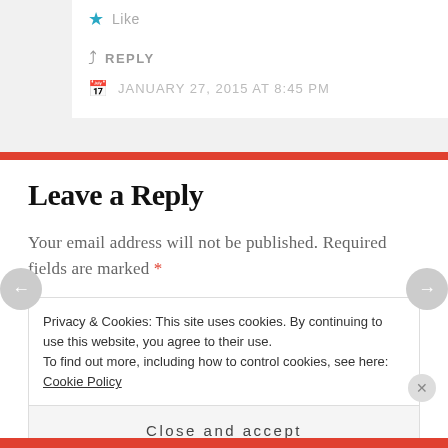Like
REPLY
JANUARY 27, 2015 AT 8:45 PM
Leave a Reply
Your email address will not be published. Required fields are marked *
Privacy & Cookies: This site uses cookies. By continuing to use this website, you agree to their use.
To find out more, including how to control cookies, see here: Cookie Policy
Close and accept